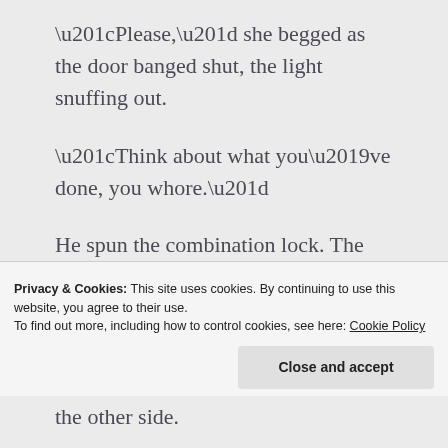“Please,” she begged as the door banged shut, the light snuffing out.
“Think about what you’ve done, you whore.”
He spun the combination lock. The clatter and clicks equaled the lit fuse on a stick of dynamite.
Privacy & Cookies: This site uses cookies. By continuing to use this website, you agree to their use.
To find out more, including how to control cookies, see here: Cookie Policy
Close and accept
the other side.